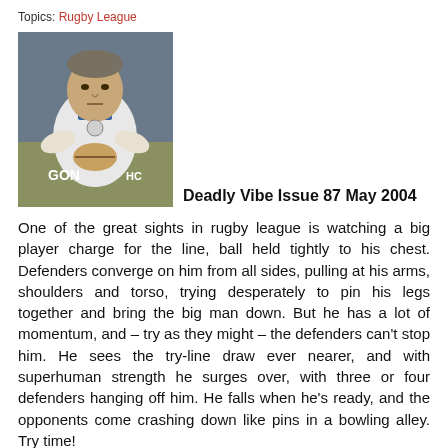Topics: Rugby League
[Figure (photo): Rugby league player in white jersey charging with ball held to chest]
Deadly Vibe Issue 87 May 2004
One of the great sights in rugby league is watching a big player charge for the line, ball held tightly to his chest. Defenders converge on him from all sides, pulling at his arms, shoulders and torso, trying desperately to pin his legs together and bring the big man down. But he has a lot of momentum, and – try as they might – the defenders can't stop him. He sees the try-line draw ever nearer, and with superhuman strength he surges over, with three or four defenders hanging off him. He falls when he's ready, and the opponents come crashing down like pins in a bowling alley. Try time!